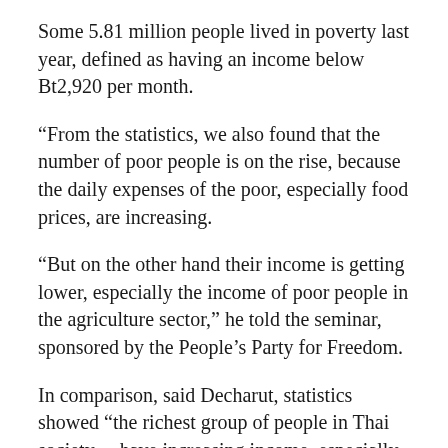Some 5.81 million people lived in poverty last year, defined as having an income below Bt2,920 per month.
“From the statistics, we also found that the number of poor people is on the rise, because the daily expenses of the poor, especially food prices, are increasing.
“But on the other hand their income is getting lower, especially the income of poor people in the agriculture sector,” he told the seminar, sponsored by the People’s Party for Freedom.
In comparison, said Decharut, statistics showed “the richest group of people in Thai society… have increasing income, especially after the coup three years ago”.
Decharut warned that this phenomenon indicated a serious problem in Thai society.